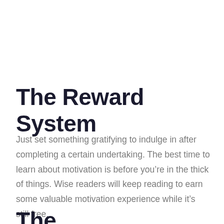The Reward System
Just set something gratifying to indulge in after completing a certain undertaking. The best time to learn about motivation is before you’re in the thick of things. Wise readers will keep reading to earn some valuable motivation experience while it’s still free.
The successful f...